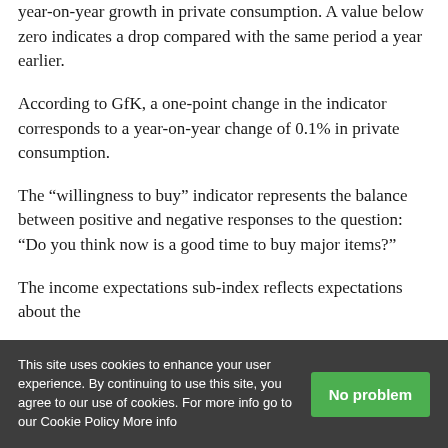year-on-year growth in private consumption. A value below zero indicates a drop compared with the same period a year earlier.
According to GfK, a one-point change in the indicator corresponds to a year-on-year change of 0.1% in private consumption.
The “willingness to buy” indicator represents the balance between positive and negative responses to the question: “Do you think now is a good time to buy major items?”
The income expectations sub-index reflects expectations about the
This site uses cookies to enhance your user experience. By continuing to use this site, you agree to our use of cookies. For more info go to our Cookie Policy More info